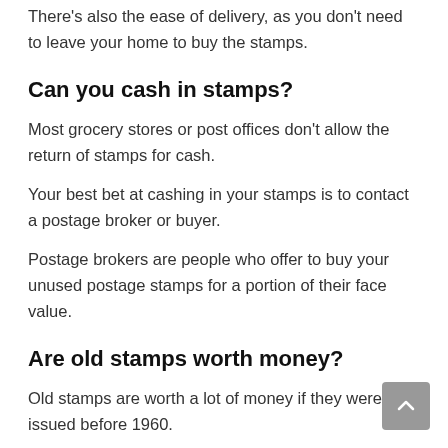There's also the ease of delivery, as you don't need to leave your home to buy the stamps.
Can you cash in stamps?
Most grocery stores or post offices don't allow the return of stamps for cash.
Your best bet at cashing in your stamps is to contact a postage broker or buyer.
Postage brokers are people who offer to buy your unused postage stamps for a portion of their face value.
Are old stamps worth money?
Old stamps are worth a lot of money if they were issued before 1960.